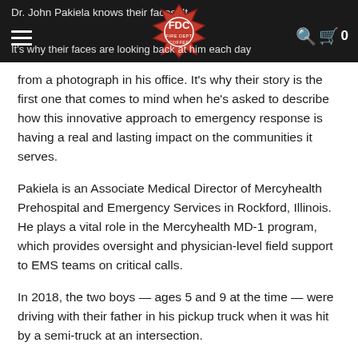FDC Fire Dept Coffee — navigation header with logo, search, and cart
from a photograph in his office. It's why their story is the first one that comes to mind when he's asked to describe how this innovative approach to emergency response is having a real and lasting impact on the communities it serves.
Pakiela is an Associate Medical Director of Mercyhealth Prehospital and Emergency Services in Rockford, Illinois. He plays a vital role in the Mercyhealth MD-1 program, which provides oversight and physician-level field support to EMS teams on critical calls.
In 2018, the two boys — ages 5 and 9 at the time — were driving with their father in his pickup truck when it was hit by a semi-truck at an intersection.